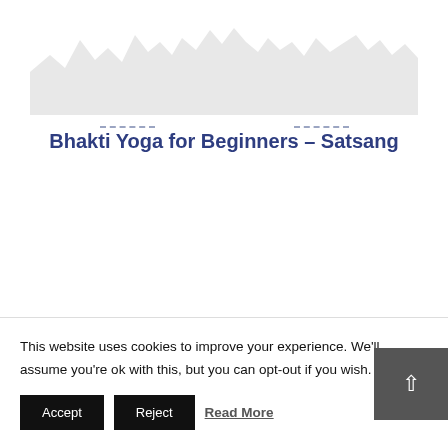[Figure (illustration): Silhouette of mountain/skyline shapes in light gray forming a decorative banner at the top of the page]
Bhakti Yoga for Beginners – Satsang
This website uses cookies to improve your experience. We'll assume you're ok with this, but you can opt-out if you wish.
Accept | Reject | Read More